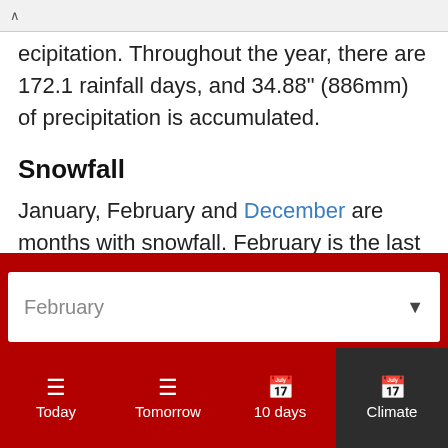ecipitation. Throughout the year, there are 172.1 rainfall days, and 34.88" (886mm) of precipitation is accumulated.
Snowfall
January, February and December are months with snowfall. February is the last month it regularly snows in Chester. During 0.3 snowfall days, in February, Chester aggregates 0.04" (1mm) of snow. In Chester, during the entire year, snow falls for 1.7 days and aggregates up to 0.59" (15mm) of snow.
February
Today  Tomorrow  10 days  Climate